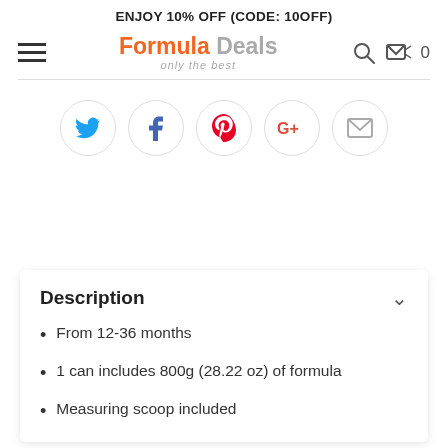ENJOY 10% OFF (CODE: 10OFF)
[Figure (logo): Formula Deals logo with tagline 'only the best']
[Figure (infographic): Social share buttons row: Twitter, Facebook, Pinterest, Google+, Email]
Description
From 12-36 months
1 can includes 800g (28.22 oz) of formula
Measuring scoop included